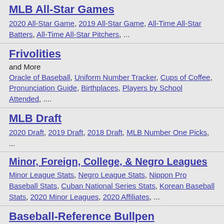MLB All-Star Games
2020 All-Star Game, 2019 All-Star Game, All-Time All-Star Batters, All-Time All-Star Pitchers, ...
Frivolities
and More
Oracle of Baseball, Uniform Number Tracker, Cups of Coffee, Pronunciation Guide, Birthplaces, Players by School Attended, ....
MLB Draft
2020 Draft, 2019 Draft, 2018 Draft, MLB Number One Picks, ...
Minor, Foreign, College, & Negro Leagues
Minor League Stats, Negro League Stats, Nippon Pro Baseball Stats, Cuban National Series Stats, Korean Baseball Stats, 2020 Minor Leagues, 2020 Affiliates, ...
Baseball-Reference Bullpen
85,000+ pages of baseball information, How to Contribute, ...
About Baseball Reference